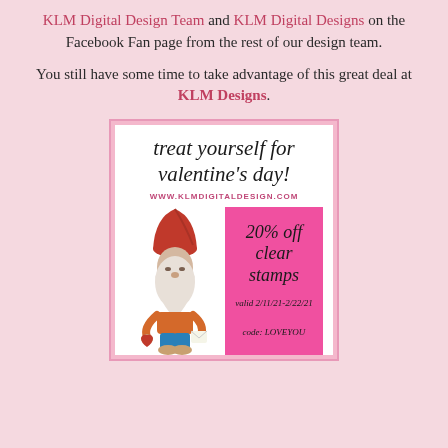KLM Digital Design Team and KLM Digital Designs on the Facebook Fan page from the rest of our design team.
You still have some time to take advantage of this great deal at KLM Designs.
[Figure (illustration): Promotional ad for KLM Digital Design showing a gnome holding a letter and heart, with text 'treat yourself for valentine's day!', website www.klmdigitaldesign.com, and a pink box offering 20% off clear stamps, valid 2/11/21-2/22/21, code: LOVEYOU]